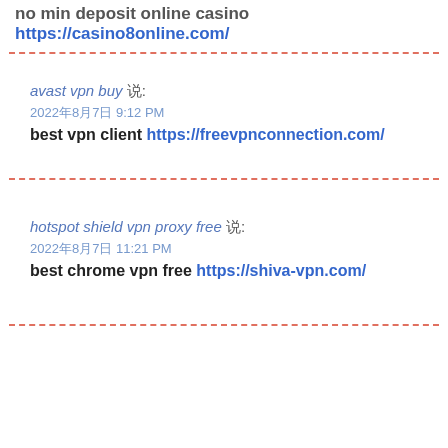no min deposit online casino https://casino8online.com/
avast vpn buy 说:
2022年8月7日 9:12 PM
best vpn client https://freevpnconnection.com/
hotspot shield vpn proxy free 说:
2022年8月7日 11:21 PM
best chrome vpn free https://shiva-vpn.com/